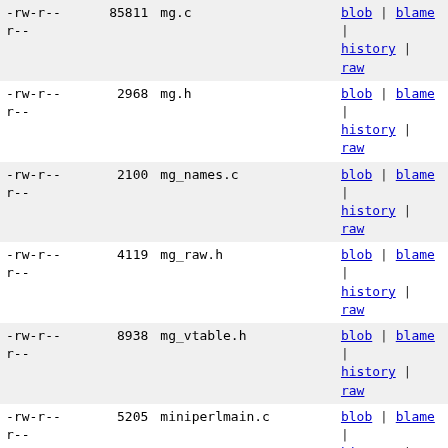| permissions | size | filename | links |
| --- | --- | --- | --- |
| -rw-r--r-- | 85811 | mg.c | blob | blame | history | raw |
| -rw-r--r-- | 2968 | mg.h | blob | blame | history | raw |
| -rw-r--r-- | 2100 | mg_names.c | blob | blame | history | raw |
| -rw-r--r-- | 4119 | mg_raw.h | blob | blame | history | raw |
| -rw-r--r-- | 8938 | mg_vtable.h | blob | blame | history | raw |
| -rw-r--r-- | 5205 | miniperlmain.c | blob | blame | history | raw |
| -rw-r--r-- | 4365 | mkppport | blob | blame | history | raw |
| -rw-r--r-- | 257 | mkppport.lst | blob | blame | history | raw |
| -rw-r--r-- | 43867 | mro.c | blob | blame | history | raw |
| -rwxr-xr-x | 2534 | myconfig.SH | blob | blame | history | raw |
| -rw-r--r-- | 2901 | mydtrace.h | blob | blame | history | raw |
| -rw-r--r-- | 3450 | nostdio.h | blob | blame | history | raw |
| -rw-r--r-- | 41731 | numeric.c | blob | blame | history | raw |
| -rw-r--r-- | 348648 | op.c | blob | blame | history | raw |